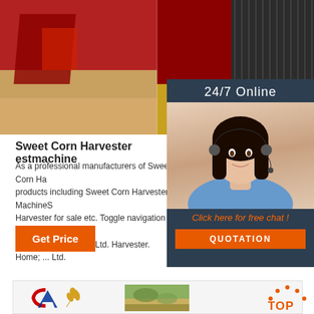[Figure (photo): Two photos of red sweet corn harvester machine parts side by side]
[Figure (photo): 24/7 online customer service panel with female agent wearing headset and quotation button]
Sweet Corn Harvester estmachine
As a professional manufacturers of Sweet Corn Ha... products including Sweet Corn Harvester MachineS... Harvester for sale etc. Toggle navigation Group Wo... Group Work Win Co. Ltd. Harvester. Home; ... Ltd.
[Figure (logo): Taan Akt company logo with stylized A and wheat]
[Figure (photo): Close-up photo of grain/corn field]
[Figure (logo): TOP back-to-top icon with orange dots]